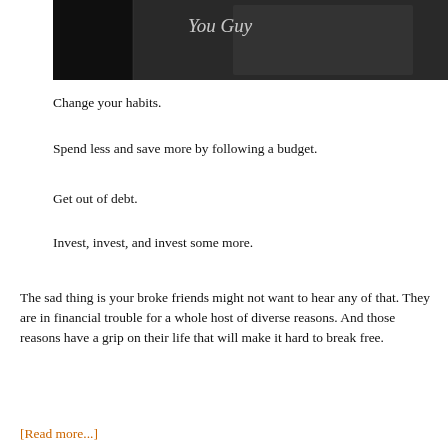[Figure (photo): Black and white photograph of a man in a suit, partially cropped, with cursive text overlay reading 'You Guy']
Change your habits.
Spend less and save more by following a budget.
Get out of debt.
Invest, invest, and invest some more.
The sad thing is your broke friends might not want to hear any of that. They are in financial trouble for a whole host of diverse reasons. And those reasons have a grip on their life that will make it hard to break free.
[Read more...]